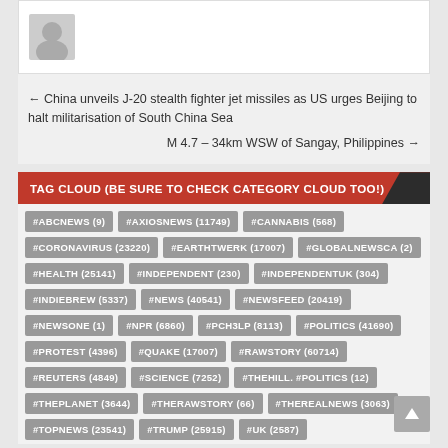[Figure (illustration): User avatar/profile icon placeholder (grey silhouette)]
← China unveils J-20 stealth fighter jet missiles as US urges Beijing to halt militarisation of South China Sea
M 4.7 – 34km WSW of Sangay, Philippines →
TAG CLOUD (BE SURE TO CHECK CATEGORY CLOUD TOO!)
#ABCNEWS (9)
#AXIOSNEWS (11749)
#CANNABIS (568)
#CORONAVIRUS (23220)
#EARTHTWERK (17007)
#GLOBALNEWSCA (2)
#HEALTH (25141)
#INDEPENDENT (230)
#INDEPENDENTUK (304)
#INDIEBREW (5337)
#NEWS (40541)
#NEWSFEED (20419)
#NEWSONE (1)
#NPR (6860)
#PCH3LP (8113)
#POLITICS (41690)
#PROTEST (4396)
#QUAKE (17007)
#RAWSTORY (60714)
#REUTERS (4849)
#SCIENCE (7252)
#THEHILL. #POLITICS (12)
#THEPLANET (3644)
#THERAWSTORY (66)
#THEREALNEWS (3063)
#TOPNEWS (23541)
#TRUMP (25915)
#UK (2587)